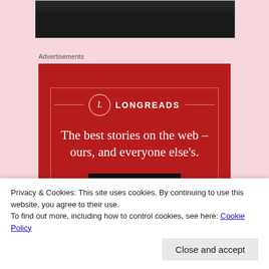[Figure (photo): Partial photo of a dark-furred animal (cat or similar), showing only the top portion cropped at the top of the image area.]
Advertisements
[Figure (illustration): Longreads advertisement banner with red background. Shows Longreads logo (circle with L), brand name LONGREADS, and text: 'The best stories on the web – ours, and everyone else's.' with a 'Start reading' button.]
Privacy & Cookies: This site uses cookies. By continuing to use this website, you agree to their use.
To find out more, including how to control cookies, see here: Cookie Policy
Close and accept